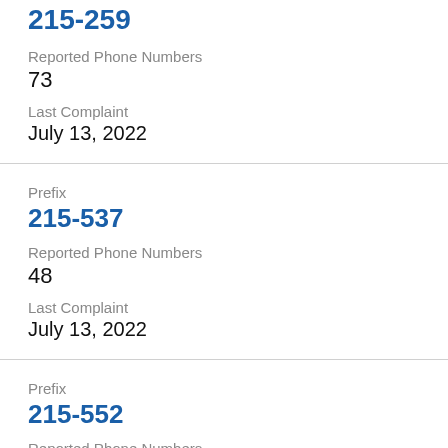215-259
Reported Phone Numbers
73
Last Complaint
July 13, 2022
Prefix
215-537
Reported Phone Numbers
48
Last Complaint
July 13, 2022
Prefix
215-552
Reported Phone Numbers